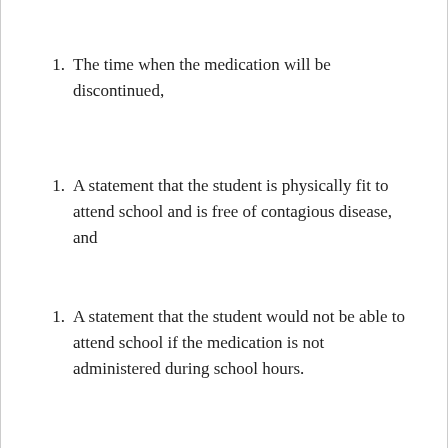1. The time when the medication will be discontinued,
1. A statement that the student is physically fit to attend school and is free of contagious disease, and
1. A statement that the student would not be able to attend school if the medication is not administered during school hours.